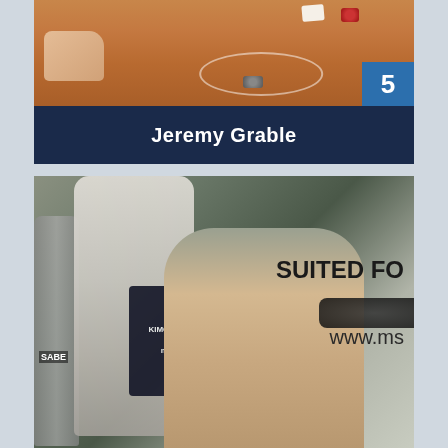[Figure (photo): Top portion of a poker table scene showing hands, playing cards, and poker chips on a brown felt table surface]
Jeremy Grable
[Figure (photo): Photo of a man with sunglasses on his head seated at what appears to be a poker tournament. Behind him is a Kimo Sabe mezcal bottle and a banner reading SUITED FO[R] and www.ms[...]]